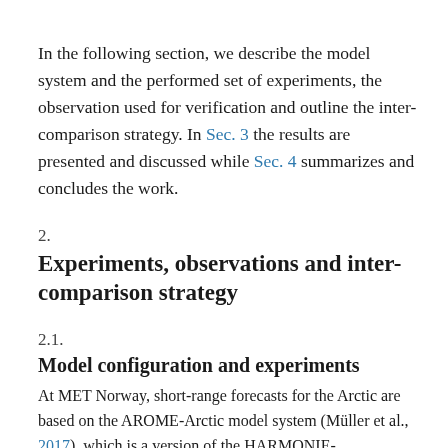In the following section, we describe the model system and the performed set of experiments, the observation used for verification and outline the inter-comparison strategy. In Sec. 3 the results are presented and discussed while Sec. 4 summarizes and concludes the work.
2. Experiments, observations and inter-comparison strategy
2.1. Model configuration and experiments
At MET Norway, short-range forecasts for the Arctic are based on the AROME-Arctic model system (Müller et al., 2017), which is a version of the HARMONIE-